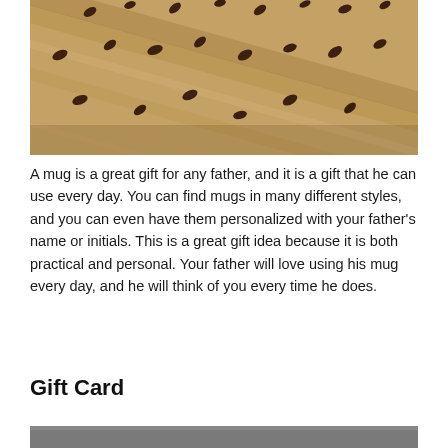[Figure (photo): Close-up photo of coffee beans scattered on a wooden surface with diagonal wood grain]
A mug is a great gift for any father, and it is a gift that he can use every day. You can find mugs in many different styles, and you can even have them personalized with your father's name or initials. This is a great gift idea because it is both practical and personal. Your father will love using his mug every day, and he will think of you every time he does.
Gift Card
[Figure (photo): Partially visible photo at the bottom of the page with gray/dark tones]